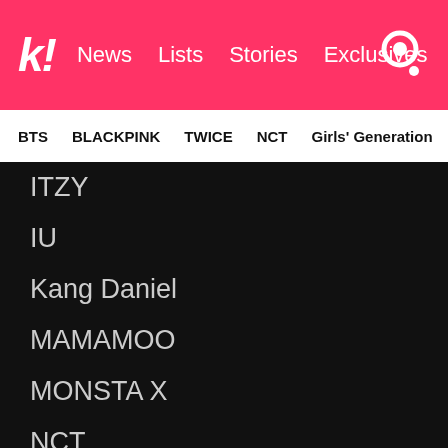kpop! News  Lists  Stories  Exclusives
BTS  BLACKPINK  TWICE  NCT  Girls' Generation  aespa
ITZY
IU
Kang Daniel
MAMAMOO
MONSTA X
NCT
Red Velvet
SEVENTEEN
Stray Kids
TWICE
TXT